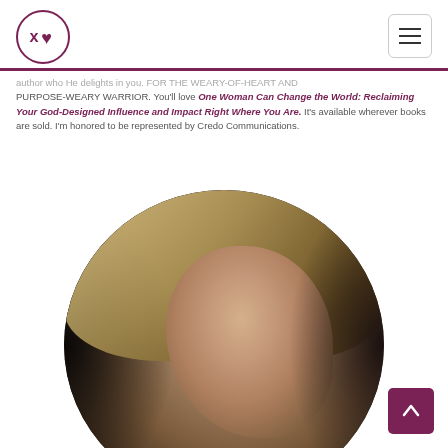XL logo and navigation
author who He delights in you. FOR THE WEARY-OF-HEART AND PURPOSE-WEARY WARRIOR. You'll love One Woman Can Change the World: Reclaiming Your God-Designed Influence and Impact Right Where You Are. It's available wherever books are sold. I'm honored to be represented by Credo Communications.
[Figure (photo): Circular cropped sepia-toned portrait photo of a blonde woman smiling, shown from shoulders up against a dark background]